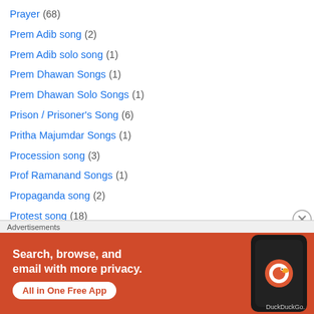Prayer (68)
Prem Adib song (2)
Prem Adib solo song (1)
Prem Dhawan Songs (1)
Prem Dhawan Solo Songs (1)
Prison / Prisoner's Song (6)
Pritha Majumdar Songs (1)
Procession song (3)
Prof Ramanand Songs (1)
Propaganda song (2)
Protest song (18)
Pt AT Kanan Songs (1)
Pt AT Kanan Solo Songs (1)
Public lament song (33)
[Figure (screenshot): DuckDuckGo advertisement banner with orange background. Text: 'Search, browse, and email with more privacy. All in One Free App' with DuckDuckGo logo on a phone.]